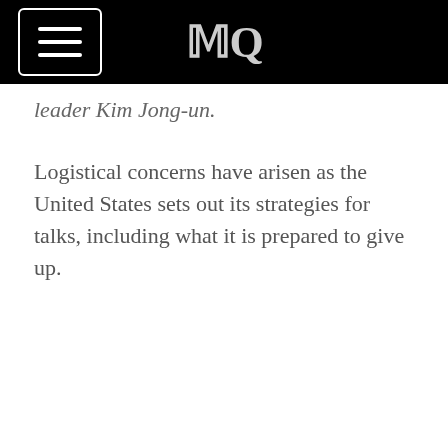MQ (logo)
leader Kim Jong-un.
Logistical concerns have arisen as the United States sets out its strategies for talks, including what it is prepared to give up.